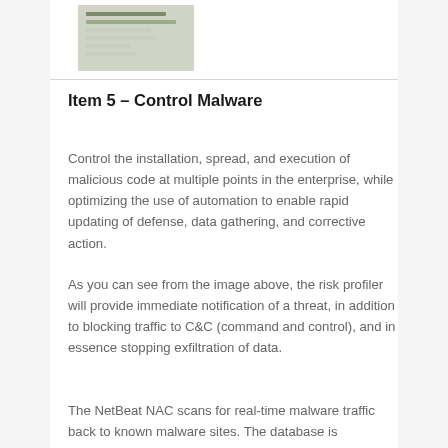[Figure (screenshot): Partial screenshot of a software interface or dashboard showing a list with colored rows, partially visible at the top of the page.]
Item 5 – Control Malware
Control the installation, spread, and execution of malicious code at multiple points in the enterprise, while optimizing the use of automation to enable rapid updating of defense, data gathering, and corrective action.
As you can see from the image above, the risk profiler will provide immediate notification of a threat, in addition to blocking traffic to C&C (command and control), and in essence stopping exfiltration of data.
The NetBeat NAC scans for real-time malware traffic back to known malware sites. The database is synchronized multiple times a day